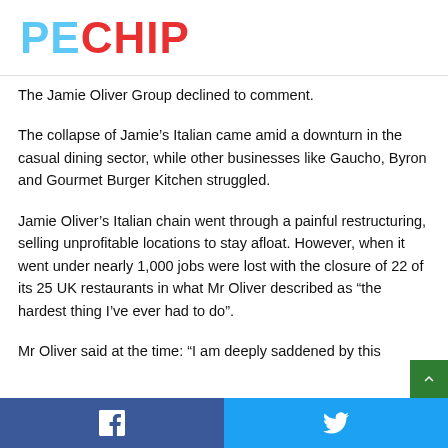PECHIP
The Jamie Oliver Group declined to comment.
The collapse of Jamie’s Italian came amid a downturn in the casual dining sector, while other businesses like Gaucho, Byron and Gourmet Burger Kitchen struggled.
Jamie Oliver’s Italian chain went through a painful restructuring, selling unprofitable locations to stay afloat. However, when it went under nearly 1,000 jobs were lost with the closure of 22 of its 25 UK restaurants in what Mr Oliver described as “the hardest thing I’ve ever had to do”.
Mr Oliver said at the time: “I am deeply saddened by this
Facebook Twitter